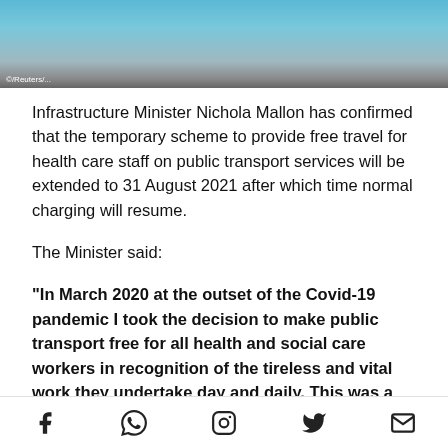[Figure (photo): Partial view of a blue bus on a road, with a photo credit watermark in the bottom left corner.]
Infrastructure Minister Nichola Mallon has confirmed that the temporary scheme to provide free travel for health care staff on public transport services will be extended to 31 August 2021 after which time normal charging will resume.
The Minister said:
“In March 2020 at the outset of the Covid-19 pandemic I took the decision to make public transport free for all health and social care workers in recognition of the tireless and vital work they undertake day and daily. This was a small gesture to those workers who put themselves in the
Social media icons: Facebook, WhatsApp, Instagram, Twitter, Email